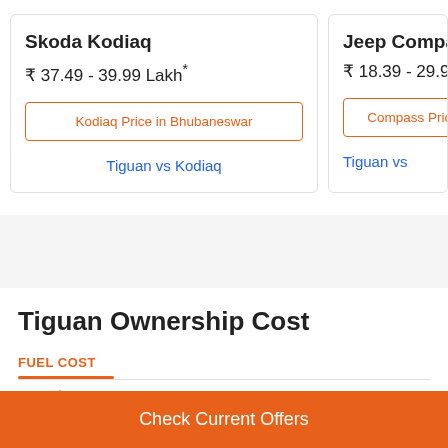Skoda Kodiaq
₹ 37.49 - 39.99 Lakh*
Kodiaq Price in Bhubaneswar
Tiguan vs Kodiaq
Jeep Compass
₹ 18.39 - 29.94
Compass Price
Tiguan vs
Tiguan Ownership Cost
FUEL COST
Check Current Offers